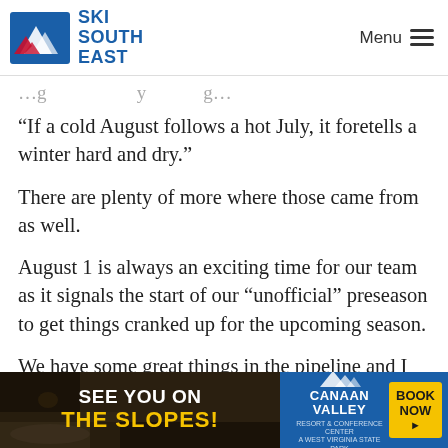SKI SOUTH EAST — Menu
“If a cold August follows a hot July, it foretells a winter hard and dry.”
There are plenty of more where those came from as well.
August 1 is always an exciting time for our team as it signals the start of our “unofficial” preseason to get things cranked up for the upcoming season.
We have some great things in the pipeline and I am excited for you guys to see them.
That does it for today, but until next time,
[Figure (infographic): Advertisement banner: 'SEE YOU ON THE SLOPES!' on dark background with winter scene on left, Canaan Valley resort logo and 'BOOK NOW' button on blue background on right.]